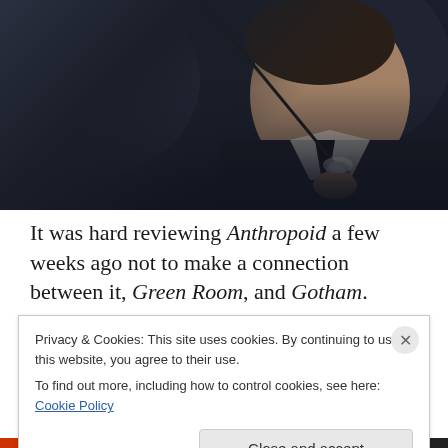[Figure (photo): A man in a dark suit laughing/smiling broadly while holding what appears to be an umbrella or cane, photographed in a dark cinematic style. The image has a dark, moody tone with the subject lit from the right side.]
It was hard reviewing Anthropoid a few weeks ago not to make a connection between it, Green Room, and Gotham.
Privacy & Cookies: This site uses cookies. By continuing to use this website, you agree to their use.
To find out more, including how to control cookies, see here: Cookie Policy
Close and accept